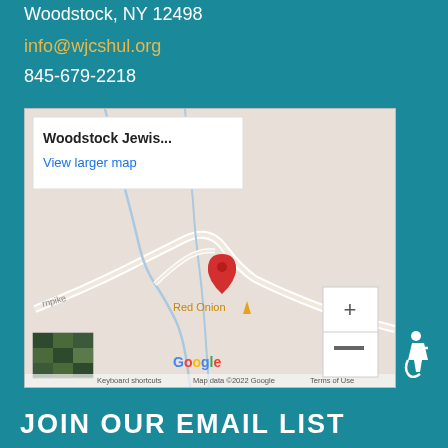Woodstock, NY 12498
info@wjcshul.org
845-679-2218
[Figure (map): Google Map showing location of Woodstock Jewish Congregation with a red pin marker near Red Onion area, with popup label 'Woodstock Jewis...' and 'View larger map' link. Map shows roads, satellite thumbnail, zoom controls, Google logo, keyboard shortcuts, and Map data ©2022 Google Terms of Use.]
JOIN OUR EMAIL LIST